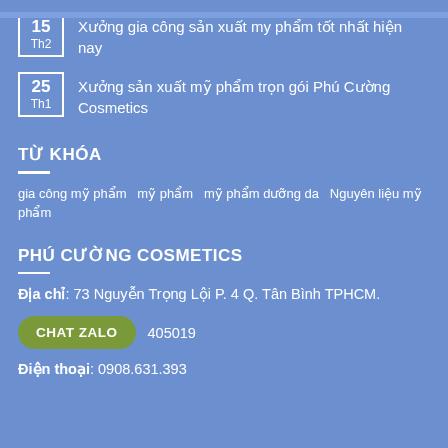15 Th2 — Xưởng gia công sản xuất my phẩm tốt nhất hiện nay
25 Th1 — Xưởng sản xuất mỹ phẩm trọn gói Phú Cường Cosmetics
TỪ KHÓA
gia công mỹ phẩm  mỹ phẩm  mỹ phẩm dưỡng da  Nguyên liệu mỹ phẩm
PHÚ CƯỜNG COSMETICS
Địa chỉ: 73 Nguyễn Trọng Lội P. 4 Q. Tân Bình TPHCM.
CHAT ZALO   405019
Điện thoại: 0908.631.393